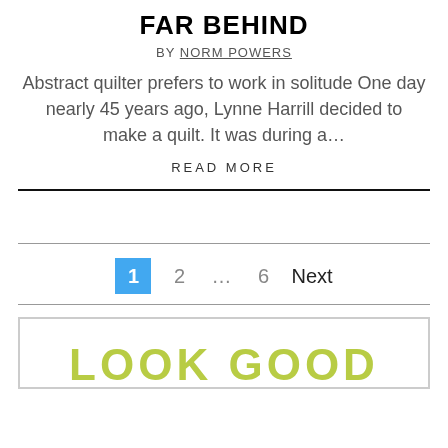FAR BEHIND
BY NORM POWERS
Abstract quilter prefers to work in solitude One day nearly 45 years ago, Lynne Harrill decided to make a quilt. It was during a…
READ MORE
1  2  …  6  Next
[Figure (other): Advertisement banner showing 'LOOK GOOD' in large yellow-green bold text inside a bordered box]